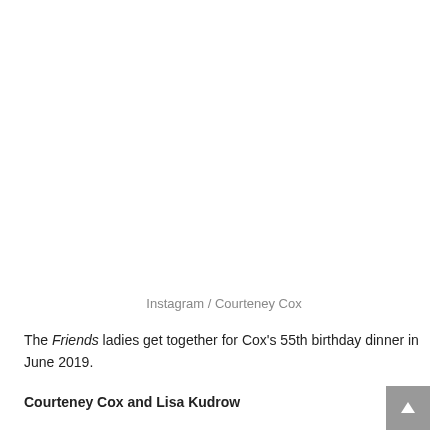Instagram / Courteney Cox
The Friends ladies get together for Cox's 55th birthday dinner in June 2019.
Courteney Cox and Lisa Kudrow